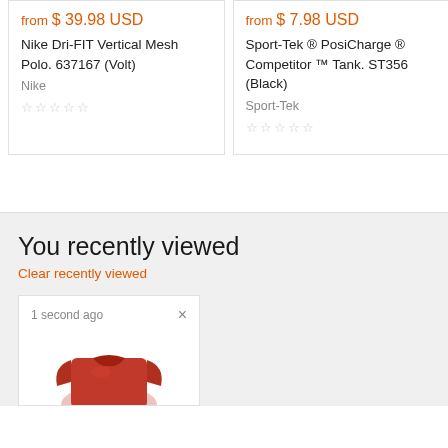from $ 39.98 USD
Nike Dri-FIT Vertical Mesh Polo. 637167 (Volt)
Nike
☆☆☆☆☆
from $ 7.98 USD
Sport-Tek ® PosiCharge ® Competitor ™ Tank. ST356 (Black)
Sport-Tek
☆☆☆☆☆
You recently viewed
Clear recently viewed
1 second ago
[Figure (photo): Red long-sleeve shirt/sweatshirt product image]